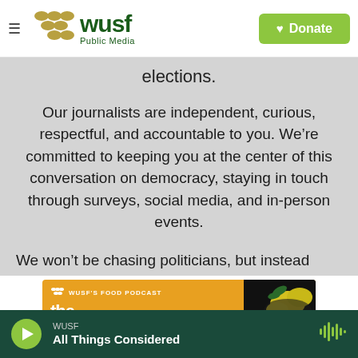[Figure (logo): WUSF Public Media logo with hamburger menu and green Donate button]
elections.
Our journalists are independent, curious, respectful, and accountable to you. We're committed to keeping you at the center of this conversation on democracy, staying in touch through surveys, social media, and in-person events.
We won't be chasing politicians, but instead we'll tell stories based on the questions you want answered.
[Figure (screenshot): WUSF's Food Podcast advertisement banner with orange background and lemon image]
[Figure (other): WUSF audio player bar - All Things Considered]